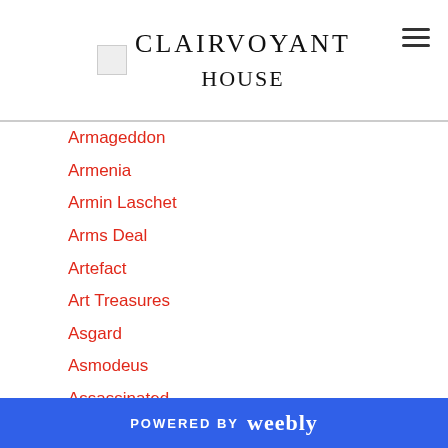CLAIRVOYANT HOUSE
Armageddon
Armenia
Armin Laschet
Arms Deal
Artefact
Art Treasures
Asgard
Asmodeus
Assassinated
Assassination
Assault
AstraZeneca
Auction House
Australia
Aviation Industry
POWERED BY weebly